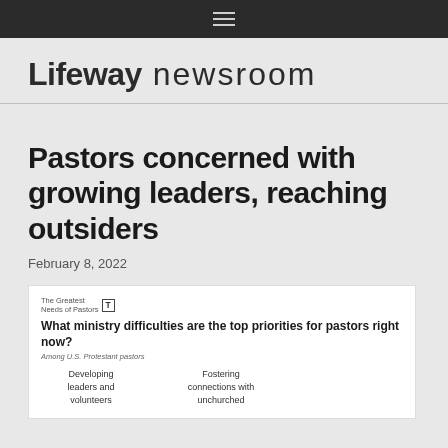≡
Lifeway newsroom
Pastors concerned with growing leaders, reaching outsiders
February 8, 2022
[Figure (infographic): Infographic titled 'The Greatest Needs of Pastors' asking 'What ministry difficulties are the top priorities for pastors right now? Among U.S. Protestant pastors'. Shows two columns: 'Developing leaders and volunteers' and 'Fostering connections with unchurched']